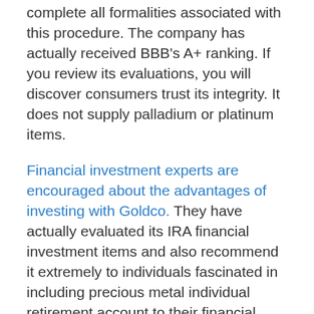complete all formalities associated with this procedure. The company has actually received BBB's A+ ranking. If you review its evaluations, you will discover consumers trust its integrity. It does not supply palladium or platinum items.
Financial investment experts are encouraged about the advantages of investing with Goldco. They have actually evaluated its IRA financial investment items and also recommend it extremely to individuals fascinated in including precious metal individual retirement account to their financial investment profile. It has continually obtained high scores from BBB and BCA. This superb credibility has actually been earned by providing trusted solutions